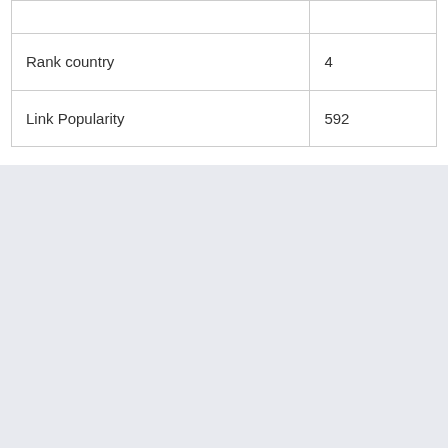|  |  |
| Rank country | 4 |
| Link Popularity | 592 |